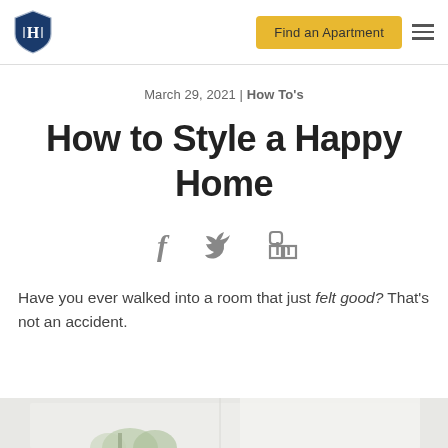Find an Apartment [navigation button] [hamburger menu]
March 29, 2021 | How To's
How to Style a Happy Home
[Figure (illustration): Social media share icons: Facebook (f), Twitter (bird), LinkedIn (in)]
Have you ever walked into a room that just felt good? That's not an accident.
[Figure (photo): Partial bottom photo showing a bright, airy room with green plant foliage visible]